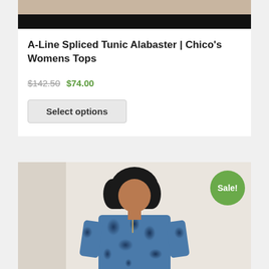[Figure (photo): Top portion of a product photo showing a model wearing black pants against a beige/tan background, cropped at the top of the page]
A-Line Spliced Tunic Alabaster | Chico's Womens Tops
$142.50 $74.00
Select options
[Figure (photo): A woman with long dark curly hair wearing a blue floral patterned tunic top, photographed against a light beige background with a Sale! badge in the upper right corner]